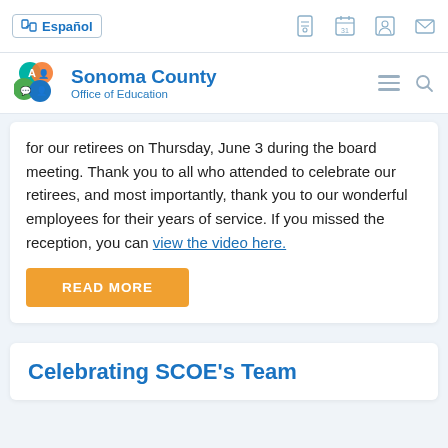Español | [icons: phone, calendar, person, mail]
[Figure (logo): Sonoma County Office of Education logo with colorful circle icons]
for our retirees on Thursday, June 3 during the board meeting. Thank you to all who attended to celebrate our retirees, and most importantly, thank you to our wonderful employees for their years of service. If you missed the reception, you can view the video here.
READ MORE
Celebrating SCOE's Team